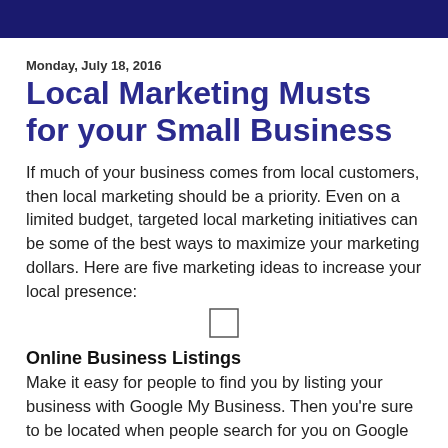Monday, July 18, 2016
Local Marketing Musts for your Small Business
If much of your business comes from local customers, then local marketing should be a priority. Even on a limited budget, targeted local marketing initiatives can be some of the best ways to maximize your marketing dollars. Here are five marketing ideas to increase your local presence:
[Figure (other): Small empty checkbox/square symbol]
Online Business Listings
Make it easy for people to find you by listing your business with Google My Business. Then you're sure to be located when people search for you on Google Search or Maps. According to ComScore, 78% of local mobile searches resulted in a offline purchase(usually within a few hours). Appearing in a local search can have a direct impact on your business.